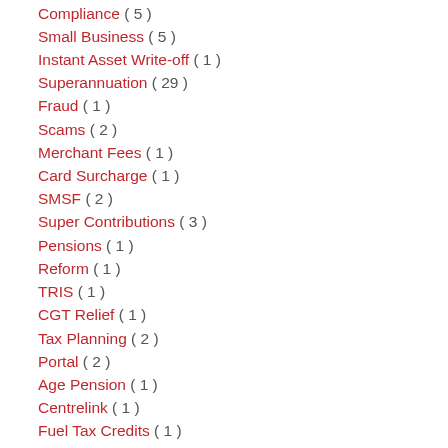Compliance ( 5 )
Small Business ( 5 )
Instant Asset Write-off ( 1 )
Superannuation ( 29 )
Fraud ( 1 )
Scams ( 2 )
Merchant Fees ( 1 )
Card Surcharge ( 1 )
SMSF ( 2 )
Super Contributions ( 3 )
Pensions ( 1 )
Reform ( 1 )
TRIS ( 1 )
CGT Relief ( 1 )
Tax Planning ( 2 )
Portal ( 2 )
Age Pension ( 1 )
Centrelink ( 1 )
Fuel Tax Credits ( 1 )
Tax Office ( 2 )
ATO ( 3 )